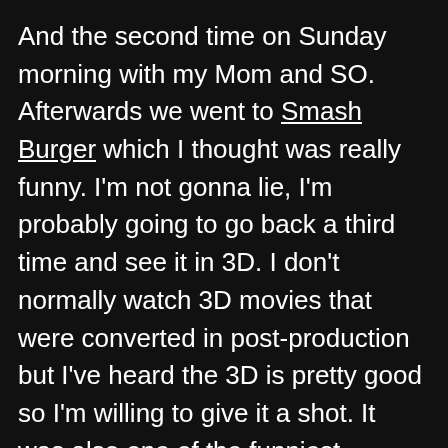And the second time on Sunday morning with my Mom and SO. Afterwards we went to Smash Burger which I thought was really funny. I'm not gonna lie, I'm probably going to go back a third time and see it in 3D. I don't normally watch 3D movies that were converted in post-production but I've heard the 3D is pretty good so I'm willing to give it a shot. It was also one of the funniest movies I've seen. I don't think I've laughed that hard since Bridesmaids.

WARNING: Spoilers ahead! So don't read